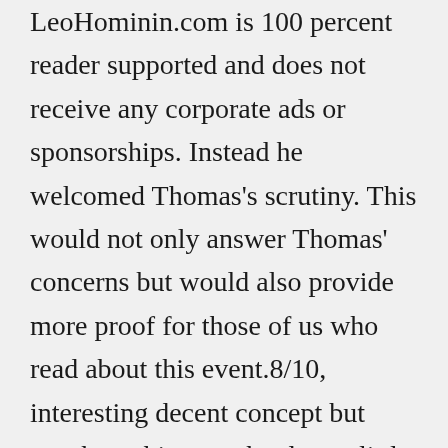LeoHominin.com is 100 percent reader supported and does not receive any corporate ads or sponsorships. Instead he welcomed Thomas's scrutiny. This would not only answer Thomas' concerns but would also provide more proof for those of us who read about this event.8/10, interesting decent concept but psychopathic mc who does a little trollin, potential but I really don't like mc who kills dogs. ← Back to Read Manga Online - Manga Catalog